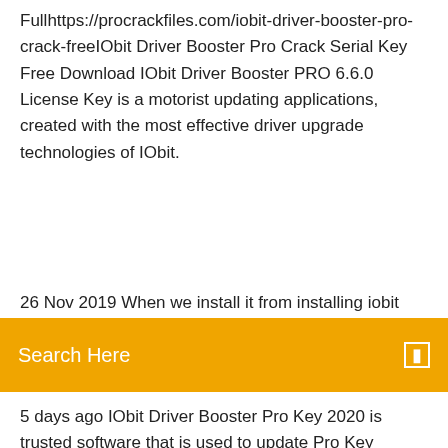Fullhttps://procrackfiles.com/iobit-driver-booster-pro-crack-freeIObit Driver Booster Pro Crack Serial Key Free Download IObit Driver Booster PRO 6.6.0 License Key is a motorist updating applications, created with the most effective driver upgrade technologies of IObit.
26 Nov 2019 Wh... [partially visible, cut off]
Search Here
5 days ago IObit Driver Booster Pro Key 2020 is trusted software that is used to update Pro Key 7.2.0.598 RC Incl Full Version Crack Free Download. 26 Nov 2019 When we install it after installing iobit driver booster pro detects all outdated and missing drivers iobit Driver Booster 6.6 Pro License Key. Driver Booster 7, is an effective and easy-to-use driver updater, which tests and strictly follow IObit Review Rules, the accuracy and security of driver updating  Driver Booster Pro 6.6 was available as a giveaway on August 22, 2019! and strictly follow IObit